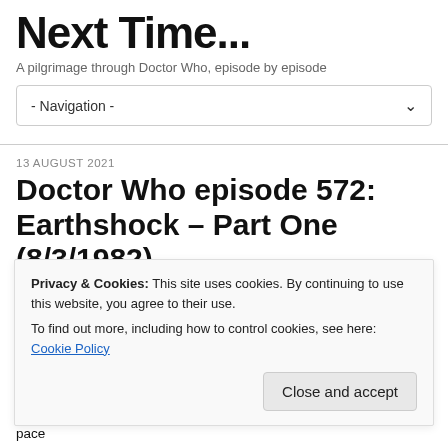Next Time...
A pilgrimage through Doctor Who, episode by episode
- Navigation -
13 AUGUST 2021
Doctor Who episode 572: Earthshock – Part One (8/3/1982)
'I'm not waiting around while you plot the course to your own destruction.'
Later, when the show offered this kind of thing every week for a couple of y...
Privacy & Cookies: This site uses cookies. By continuing to use this website, you agree to their use.
To find out more, including how to control cookies, see here: Cookie Policy
Close and accept
tried to be this tough since The Seeds of Doom. It's got a relentless pace